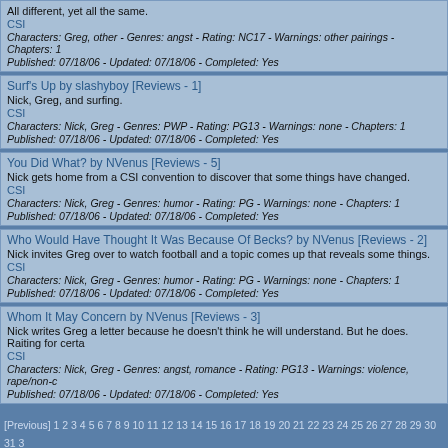All different, yet all the same. CSI Characters: Greg, other - Genres: angst - Rating: NC17 - Warnings: other pairings - Chapters: 1 Published: 07/18/06 - Updated: 07/18/06 - Completed: Yes
Surf's Up by slashyboy [Reviews - 1] Nick, Greg, and surfing. CSI Characters: Nick, Greg - Genres: PWP - Rating: PG13 - Warnings: none - Chapters: 1 Published: 07/18/06 - Updated: 07/18/06 - Completed: Yes
You Did What? by NVenus [Reviews - 5] Nick gets home from a CSI convention to discover that some things have changed. CSI Characters: Nick, Greg - Genres: humor - Rating: PG - Warnings: none - Chapters: 1 Published: 07/18/06 - Updated: 07/18/06 - Completed: Yes
Who Would Have Thought It Was Because Of Becks? by NVenus [Reviews - 2] Nick invites Greg over to watch football and a topic comes up that reveals some things. CSI Characters: Nick, Greg - Genres: humor - Rating: PG - Warnings: none - Chapters: 1 Published: 07/18/06 - Updated: 07/18/06 - Completed: Yes
Whom It May Concern by NVenus [Reviews - 3] Nick writes Greg a letter because he doesn't think he will understand. But he does. Raiting for certa CSI Characters: Nick, Greg - Genres: angst, romance - Rating: PG13 - Warnings: violence, rape/non-c Published: 07/18/06 - Updated: 07/18/06 - Completed: Yes
[Previous] 1 2 3 4 5 6 7 8 9 10 11 12 13 14 15 16 17 18 19 20 21 22 23 24 25 26 27 28 29 30 31 3 57 58 59 60 61 62 63 64 65 66 67 68 69 70 71 72 73 74 75 76 77 78 79 80 81 82 83 84 85 86 87 109 110 111 112 113 114 115 116 117 118 119 120 121 122 123 124 125 126 12
This site is not in any way associated with CBS or Bruckheimer Productions. This is a not-for-p intended. Archive script powered by eFiction version 1.1. Webspace provided by Starthosting.nl.